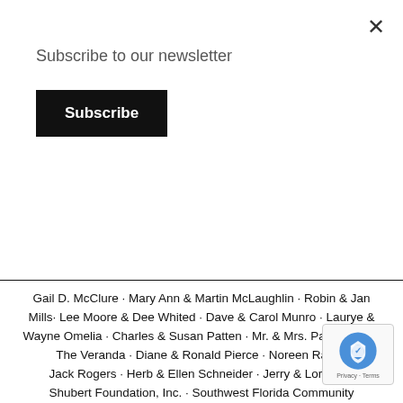×
Subscribe to our newsletter
Subscribe
Gail D. McClure · Mary Ann & Martin McLaughlin · Robin & Jan Mills· Lee Moore & Dee Whited · Dave & Carol Munro · Laurye & Wayne Omelia · Charles & Susan Patten · Mr. & Mrs. Paul Peden / The Veranda · Diane & Ronald Pierce · Noreen Raney · Jack Rogers · Herb & Ellen Schneider · Jerry & Lorna Sh... Shubert Foundation, Inc. · Southwest Florida Community